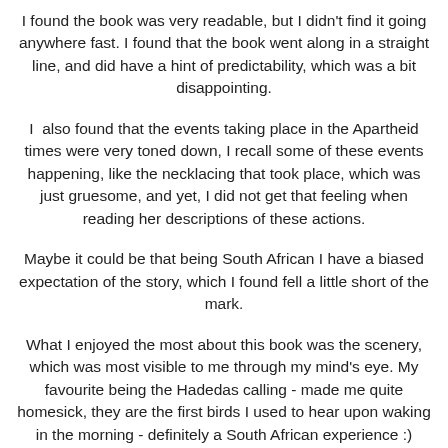I found the book was very readable, but I didn't find it going anywhere fast. I found that the book went along in a straight line, and did have a hint of predictability, which was a bit disappointing.
I  also found that the events taking place in the Apartheid times were very toned down, I recall some of these events happening, like the necklacing that took place, which was just gruesome, and yet, I did not get that feeling when reading her descriptions of these actions.
Maybe it could be that being South African I have a biased expectation of the story, which I found fell a little short of the mark.
What I enjoyed the most about this book was the scenery, which was most visible to me through my mind's eye. My favourite being the Hadedas calling - made me quite homesick, they are the first birds I used to hear upon waking in the morning - definitely a South African experience :)
So you can experience the Hadedas firsthand, I found